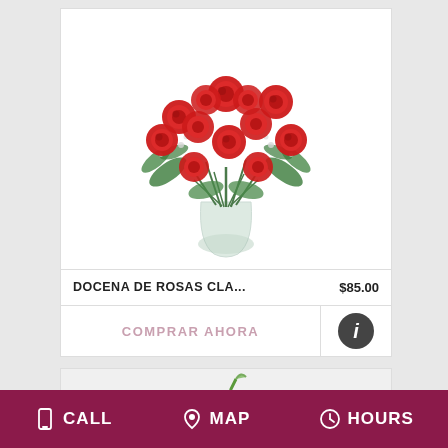[Figure (photo): A dozen classic red roses arranged in a glass vase with green foliage and baby's breath, displayed on a white background product card.]
DOCENA DE ROSAS CLA...    $85.00
COMPRAR AHORA
[Figure (photo): Partial second product card showing bottom edge of a floral product photo.]
CALL   MAP   HOURS